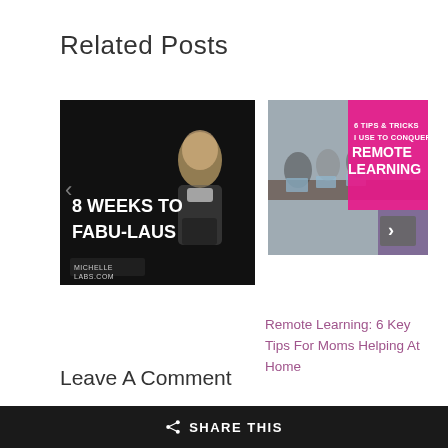Related Posts
[Figure (photo): Fitness promotional image with text '8 WEEKS TO FABU-LAUS' on black background, showing a blonde woman in workout attire. Logo: MICHELLE LABS.COM]
[Figure (photo): Remote learning promotional image showing students at laptops with pink overlay text '6 TIPS & TRICKS I USE TO CONQUER REMOTE LEARNING']
Remote Learning: 6 Key Tips For Moms Helping At Home
Leave A Comment
SHARE THIS